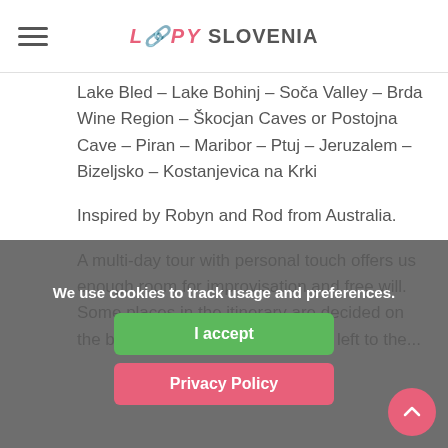LOOPY SLOVENIA
Lake Bled – Lake Bohinj – Soča Valley – Brda Wine Region – Škocjan Caves or Postojna Cave – Piran – Maribor – Ptuj – Jeruzalem – Bizeljsko – Kostanjevica na Krki
Inspired by Robyn and Rod from Australia.
A multi-day tour with personal touch offers us enough room for improvisation and free will. Some places in the itinerary are decided on the base of experience. Some are left to the...
We use cookies to track usage and preferences.
I accept
Privacy Policy